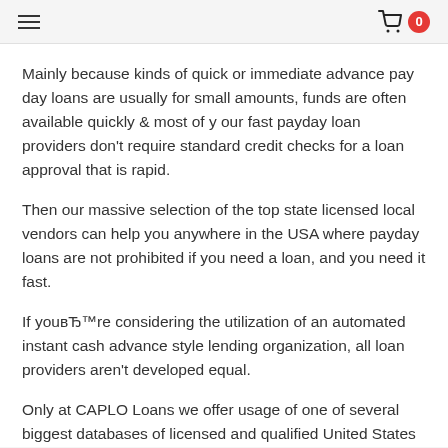≡  🛒 0
Mainly because kinds of quick or immediate advance pay day loans are usually for small amounts, funds are often available quickly & most of y our fast payday loan providers don't require standard credit checks for a loan approval that is rapid.
Then our massive selection of the top state licensed local vendors can help you anywhere in the USA where payday loans are not prohibited if you need a loan, and you need it fast.
If youвЂ™re considering the utilization of an automated instant cash advance style lending organization, all loan providers aren't developed equal.
Only at CAPLO Loans we offer usage of one of several biggest databases of licensed and qualified United States Of America based instant online loans providers for just about any kind of customer.
The reason we think you really need to think when choosing an immediate cash loan provider on the web.